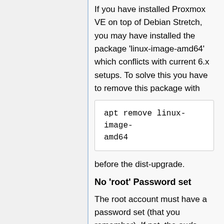If you have installed Proxmox VE on top of Debian Stretch, you may have installed the package 'linux-image-amd64' which conflicts with current 6.x setups. To solve this you have to remove this package with
apt remove linux-image-amd64
before the dist-upgrade.
No 'root' Password set
The root account must have a password set (that you remember). If not, the sudo package will be uninstalled during the upgrade, and so you will not be able to log in again as root if that latter has no password set. If you used the official Proxmox VE or Debian installer and you